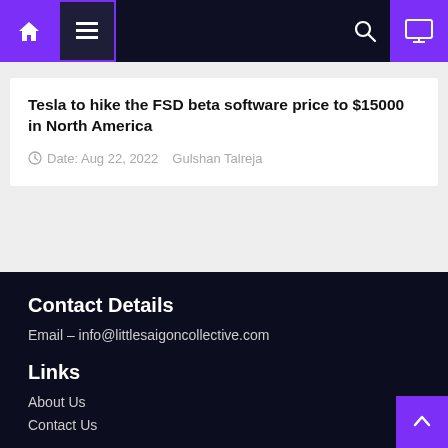Navigation bar with home, menu, search, and monitor icons
Tesla to hike the FSD beta software price to $15000 in North America
Date: Aug 22, 2022   Gulshan Talreja
Contact Details
Email – info@littlesaigoncollective.com
Links
About Us
Contact Us